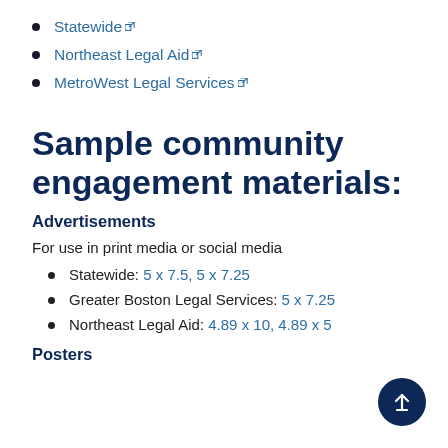Statewide
Northeast Legal Aid
MetroWest Legal Services
Sample community engagement materials:
Advertisements
For use in print media or social media
Statewide: 5 x 7.5, 5 x 7.25
Greater Boston Legal Services: 5 x 7.25
Northeast Legal Aid: 4.89 x 10, 4.89 x 5
Posters